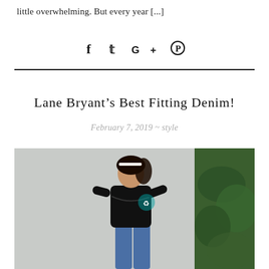little overwhelming. But every year [...]
[Figure (other): Social media share icons: Facebook (f), Twitter (bird), Google+, Pinterest]
Lane Bryant's Best Fitting Denim!
February 7, 2019 ~ style
[Figure (photo): Woman wearing a sheer black polka dot long-sleeve top and blue jeans, standing outdoors with greenery in background]